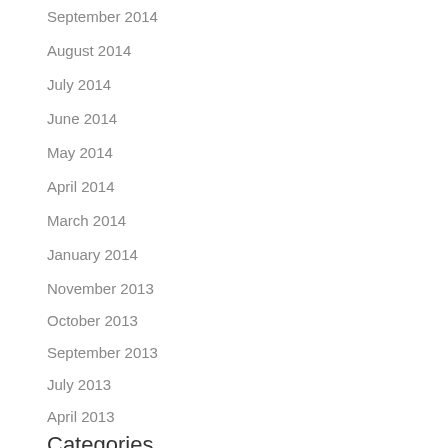September 2014
August 2014
July 2014
June 2014
May 2014
April 2014
March 2014
January 2014
November 2013
October 2013
September 2013
July 2013
April 2013
Categories